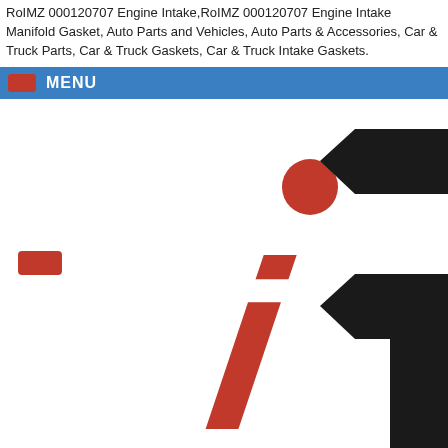RoIMZ 000120707 Engine Intake,RoIMZ 000120707 Engine Intake Manifold Gasket, Auto Parts and Vehicles, Auto Parts & Accessories, Car & Truck Parts, Car & Truck Gaskets, Car & Truck Intake Gaskets.
MENU
[Figure (logo): Partial logo with red stylized italic 'i' and black angular shapes, with a small red rectangle button on the left and red dot above the 'i']